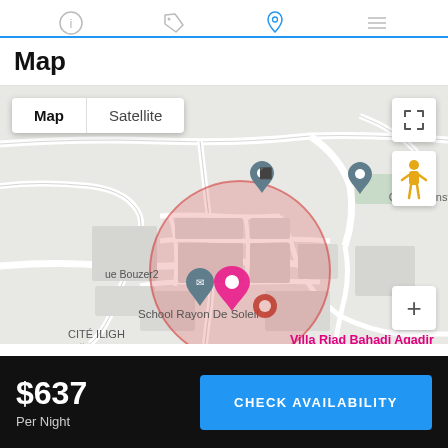Navigation icons: info, tag, location pin (active), menu
Map
[Figure (map): Google-style street map centered on Villa Riad Bahadi Agadir. Shows a large red translucent circle around the property location. Labels visible: Connect Institute, School Rayon De Soleil, ue Bouzer2, CITÉ ILIGH / حي البيغ, Avenue Tiguert. Pink marker for Villa Riad Bahadi Agadir. Controls: Map/Satellite toggle, fullscreen, street-view person, zoom plus.]
$637
Per Night
CHECK AVAILABILITY